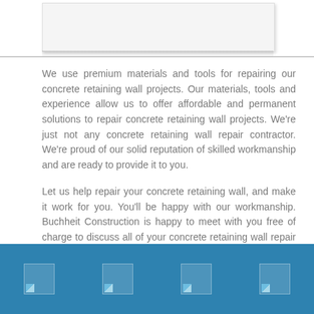[Figure (other): Top image area showing a white/light gray rectangular box with shadow, representing a photo or banner image]
We use premium materials and tools for repairing our concrete retaining wall projects. Our materials, tools and experience allow us to offer affordable and permanent solutions to repair concrete retaining wall projects. We're just not any concrete retaining wall repair contractor. We're proud of our solid reputation of skilled workmanship and are ready to provide it to you.
Let us help repair your concrete retaining wall, and make it work for you. You'll be happy with our workmanship. Buchheit Construction is happy to meet with you free of charge to discuss all of your concrete retaining wall repair options.
[Figure (other): Blue footer bar containing four small image placeholders evenly spaced across the width]